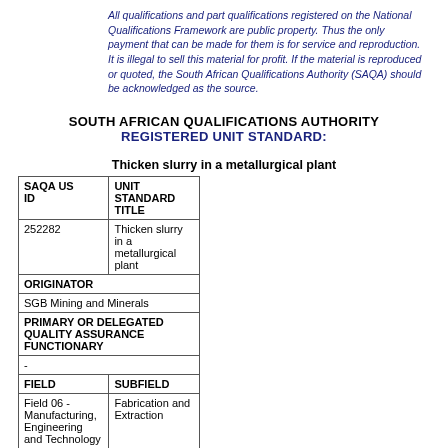All qualifications and part qualifications registered on the National Qualifications Framework are public property. Thus the only payment that can be made for them is for service and reproduction. It is illegal to sell this material for profit. If the material is reproduced or quoted, the South African Qualifications Authority (SAQA) should be acknowledged as the source.
SOUTH AFRICAN QUALIFICATIONS AUTHORITY
REGISTERED UNIT STANDARD:
Thicken slurry in a metallurgical plant
| SAQA US ID | UNIT STANDARD TITLE |
| --- | --- |
| 252282 | Thicken slurry in a metallurgical plant |
| ORIGINATOR |  |
| SGB Mining and Minerals |  |
| PRIMARY OR DELEGATED QUALITY ASSURANCE FUNCTIONARY |  |
| - |  |
| FIELD | SUBFIELD |
| Field 06 - Manufacturing, Engineering and Technology | Fabrication and Extraction |
| ABET BAND | UNIT STANDARD | PRE-2009 NQF LEVEL | NQF LEVEL | CREDITS |